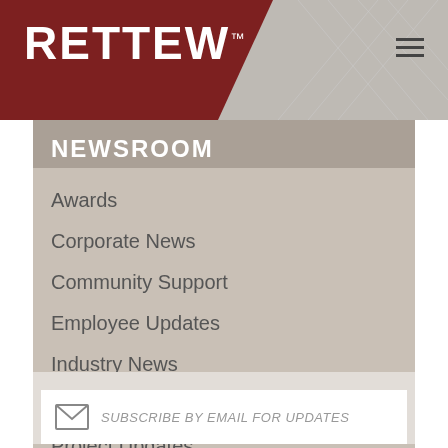RETTEW
NEWSROOM
Awards
Corporate News
Community Support
Employee Updates
Industry News
Internships
Project Updates
Services
SUBSCRIBE BY EMAIL FOR UPDATES